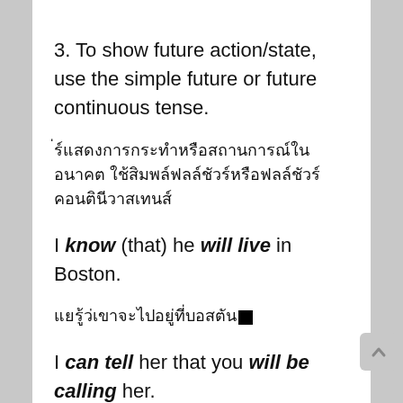3. To show future action/state, use the simple future or future continuous tense.
ใช้แสดงการกระทำหรือสถานการณ์ในอนาคต ใช้ simple future หรือ future continuous tense
I know (that) he will live in Boston.
ฉันรู้ว่าเขาจะไปอยู่ที่บอสตัน
I can tell her that you will be calling her.